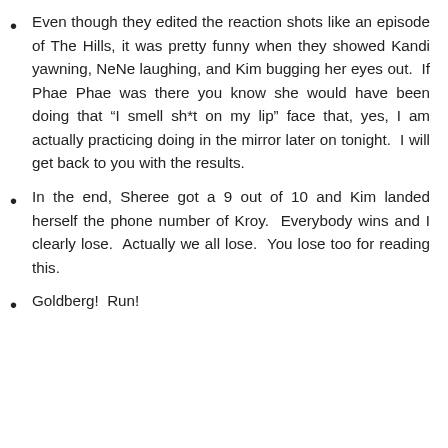Even though they edited the reaction shots like an episode of The Hills, it was pretty funny when they showed Kandi yawning, NeNe laughing, and Kim bugging her eyes out.  If Phae Phae was there you know she would have been doing that “I smell sh*t on my lip” face that, yes, I am actually practicing doing in the mirror later on tonight.  I will get back to you with the results.
In the end, Sheree got a 9 out of 10 and Kim landed herself the phone number of Kroy.  Everybody wins and I clearly lose.  Actually we all lose.  You lose too for reading this.
Goldberg!  Run!